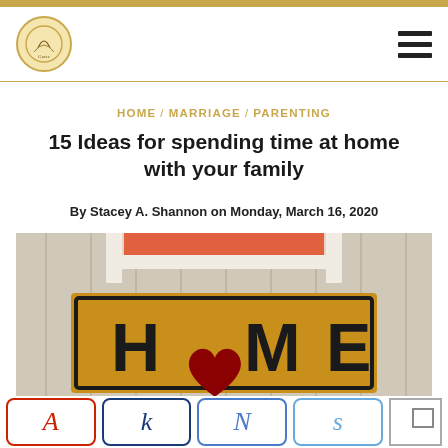HOME / MARRIAGE / PARENTING
15 Ideas for spending time at home with your family
By Stacey A. Shannon on Monday, March 16, 2020
[Figure (photo): A doormat on a porch that reads HOME with a red heart replacing the letter O]
[Figure (infographic): Social sharing buttons row: A (red), k (dark blue), N (medium blue), s (light blue), and a share icon box]